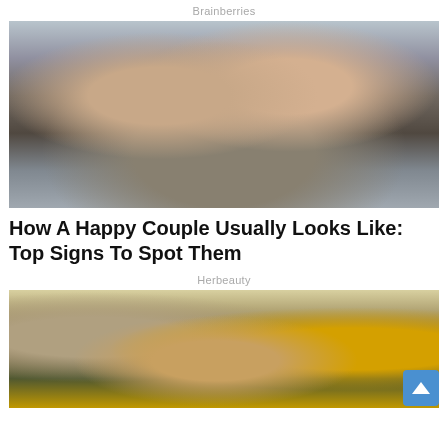Brainberries
[Figure (photo): A couple relaxing on a sofa with eyes closed, holding cups of coffee or tea. Man in dark turtleneck, woman in grey-green turtleneck. Cozy indoor setting.]
How A Happy Couple Usually Looks Like: Top Signs To Spot Them
Herbeauty
[Figure (photo): A woman with dark hair pulled back, wearing a green jacket, looking directly at the camera with a serious expression. Interior setting with artwork and a yellow floral patterned object on the right.]